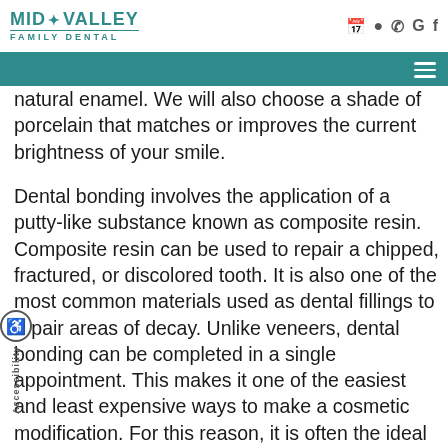MID VALLEY FAMILY DENTAL
natural enamel. We will also choose a shade of porcelain that matches or improves the current brightness of your smile.
Dental bonding involves the application of a putty-like substance known as composite resin. Composite resin can be used to repair a chipped, fractured, or discolored tooth. It is also one of the most common materials used as dental fillings to repair areas of decay. Unlike veneers, dental bonding can be completed in a single appointment. This makes it one of the easiest and least expensive ways to make a cosmetic modification. For this reason, it is often the ideal choice for minor issues, such as